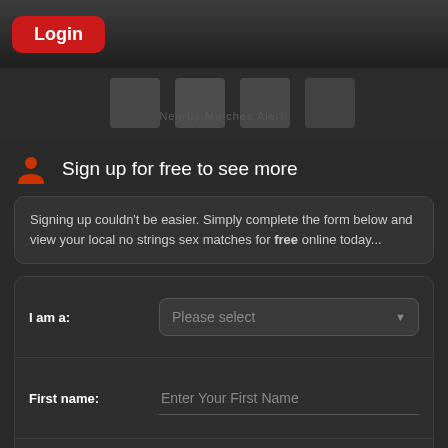Login
[Figure (screenshot): Blurred background image area showing faint profile pictures]
Sign up for free to see more
Signing up couldn't be easier. Simply complete the form below and view your local no strings sex matches for free online today...
I am a: [Please select dropdown]
First name: [Enter Your First Name input]
Date of birth: [Day dropdown] [Month dropdown] [Year dropdown]
Email: [Enter Your Email Address input]